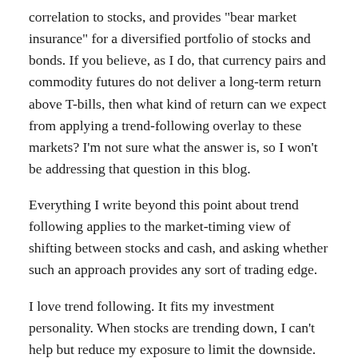correlation to stocks, and provides "bear market insurance" for a diversified portfolio of stocks and bonds. If you believe, as I do, that currency pairs and commodity futures do not deliver a long-term return above T-bills, then what kind of return can we expect from applying a trend-following overlay to these markets? I'm not sure what the answer is, so I won't be addressing that question in this blog.
Everything I write beyond this point about trend following applies to the market-timing view of shifting between stocks and cash, and asking whether such an approach provides any sort of trading edge.
I love trend following. It fits my investment personality. When stocks are trending down, I can't help but reduce my exposure to limit the downside. While reducing risk of loss, TF also reduces long-term returns, but that's the investment discipline I've chosen for myself. Within the TF framework, I search